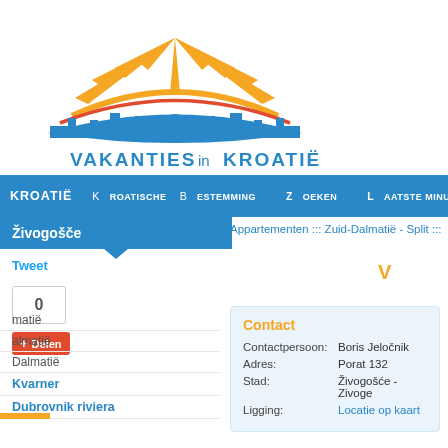[Figure (logo): Vakanties in Kroatië logo with orange sun rays, blue cityscape silhouette, and orange/red arching bands. Text: VAKANTIES in KROATIË]
KROATIË  Kroatische bestemming  Zoeken  Laatste minuut
Živogošće
Tweet
0
Delen
matië
almatië
Dalmatië
Kvarner
Dubrovnik riviera
Appartementen ::: Zuid-Dalmatië - Split :::
V
| Label | Value |
| --- | --- |
| Contactpersoon: | Boris Jeločnik |
| Adres: | Porat 132 |
| Stad: | Živogošće - Zivoge |
| Ligging: | Locatie op kaart |